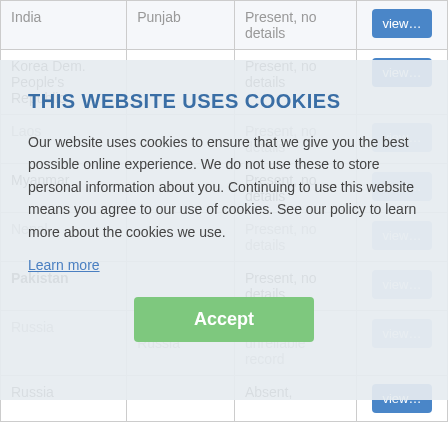| Country | Region | Status | Action |
| --- | --- | --- | --- |
| India | Punjab | Present, no details | view... |
| Korea Dem. People's Republic |  | Present, no details | view... |
| Laos |  | Present, no details | view... |
| Myanmar |  | Present, no details | view... |
| Nepal |  | Present, no details | view... |
| Pakistan |  | Present, no details | view... |
| Russia | European Russia | Absent, unreliable record | view... |
| Russia |  | Absent, | view... |
THIS WEBSITE USES COOKIES
Our website uses cookies to ensure that we give you the best possible online experience. We do not use these to store personal information about you. Continuing to use this website means you agree to our use of cookies. See our policy to learn more about the cookies we use.
Learn more
Accept